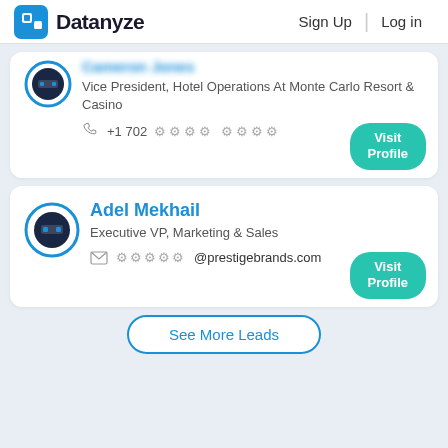Datanyze  Sign Up  Log in
Vice President, Hotel Operations At Monte Carlo Resort & Casino
+1 702 *** ****
Visit Profile
Adel Mekhail
Executive VP, Marketing & Sales
*****@prestigebrands.com
Visit Profile
See More Leads